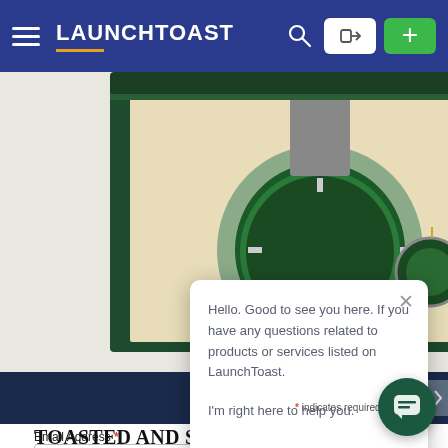LAUNCHTOAST navigation bar
[Figure (photo): Green Rolex watch box open showing a green-dialed Submariner watch and a small medallion on a cream cushion interior]
Hello. Good to see you here. If you have any questions related to products or services listed on LaunchToast. I'm right here to help you.
TOASTED AND SE... YOUR INBOX
* indicates required
Email Address *